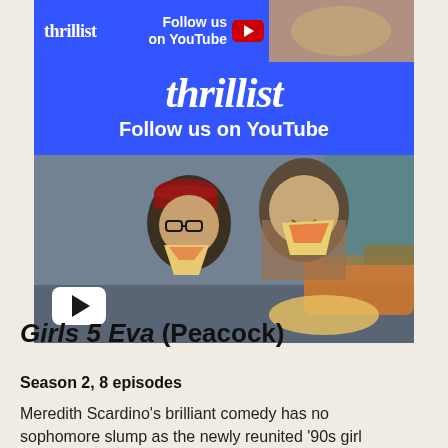[Figure (screenshot): Thrillist YouTube promotional banner and video thumbnail. Top strip shows Thrillist logo on blue background with 'Follow us on YouTube' text and YouTube icon, plus a food photo partially visible. Main blue banner shows 'thrillist' in large italic serif font and 'Follow us on YouTube' in bold white text. Below is a photo of two men eating pizza slices in a restaurant, with a white YouTube play button overlay in the bottom left.]
Girls 5 Eva (Peacock)
Season 2, 8 episodes
Meredith Scardino's brilliant comedy has no sophomore slump as the newly reunited '90s girl